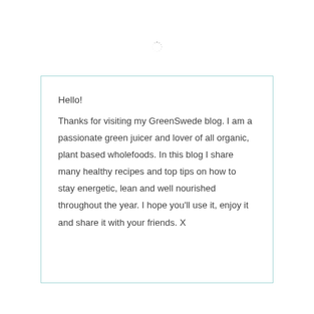[Figure (other): Loading spinner icon, small circular dashed ring]
Hello!
Thanks for visiting my GreenSwede blog. I am a passionate green juicer and lover of all organic, plant based wholefoods. In this blog I share many healthy recipes and top tips on how to stay energetic, lean and well nourished throughout the year. I hope you'll use it, enjoy it and share it with your friends. X